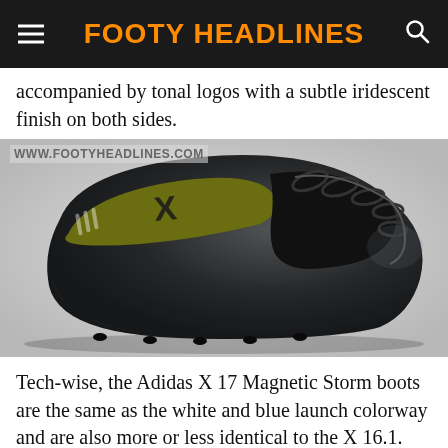FOOTY HEADLINES
accompanied by tonal logos with a subtle iridescent finish on both sides.
[Figure (photo): Top-down view of an Adidas X 17 Magnetic Storm football boot in dark/black colorway with iridescent texture, yellow/olive insole visible, laced up, shown against a light grey background. Watermark: WWW.FOOTYHEADLINES.COM]
Tech-wise, the Adidas X 17 Magnetic Storm boots are the same as the white and blue launch colorway and are also more or less identical to the X 16.1. Boot weight has not been revealed though.